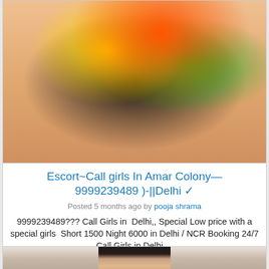[Figure (photo): Partial photo of a person wearing a colorful patterned garment with green, red, yellow elements on dark background]
Escort~Call girls In Amar Colony—9999239489 )-||Delhi ✓
Posted 5 months ago by pooja shrama
9999239489??? Call Girls in  Delhi,, Special Low price with a special girls  Short 1500 Night 6000 in Delhi / NCR Booking 24/7 Call Girls in Delhi ...
Independent Escorts / Delhi / 59 views
INR 6,000.00
[Figure (photo): Partial photo of a young woman with dark hair against a light background]